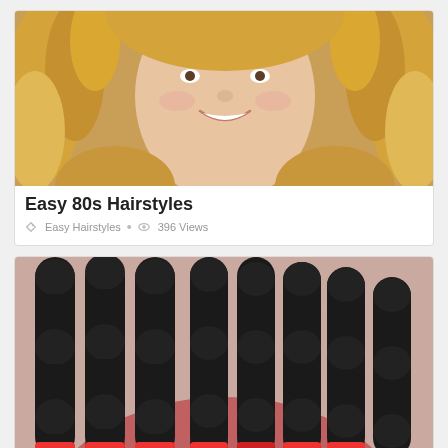[Figure (photo): Woman with curly blonde hair smiling, 80s hairstyle]
Easy 80s Hairstyles
Easy Hairstyles • 396 Views
[Figure (photo): Close-up of a person with dark twisted/coiled natural hair protective style with red bands]
Easy Protective Hairstyles for Short Natural Hair